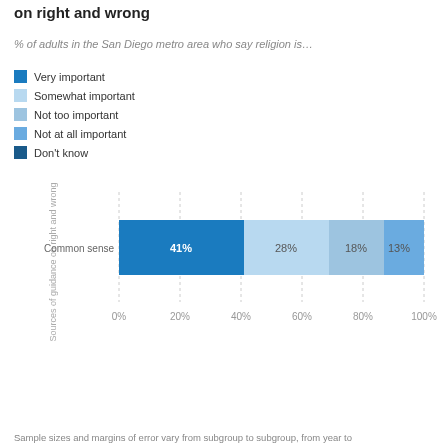on right and wrong
% of adults in the San Diego metro area who say religion is…
Very important
Somewhat important
Not too important
Not at all important
Don't know
[Figure (stacked-bar-chart): Sources of guidance on right and wrong]
Sample sizes and margins of error vary from subgroup to subgroup, from year to